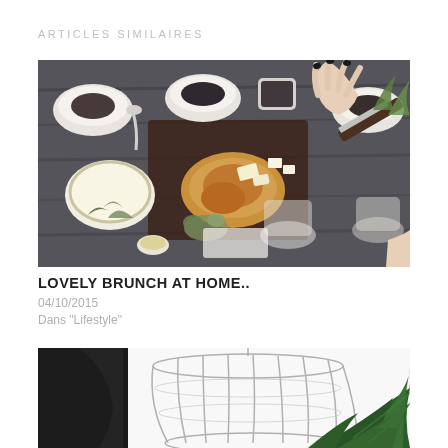ARTICLES SIMILAIRES
[Figure (photo): Overhead view of a brunch spread on a dark wooden table with croissants, cheeses, jams, and various bowls and glasses, with hands reaching in.]
LOVELY BRUNCH AT HOME..
04/10/2015
Dans "Lifestyle"
[Figure (photo): Person in black top standing next to a wire lamp shade frame and a large green leafy plant.]